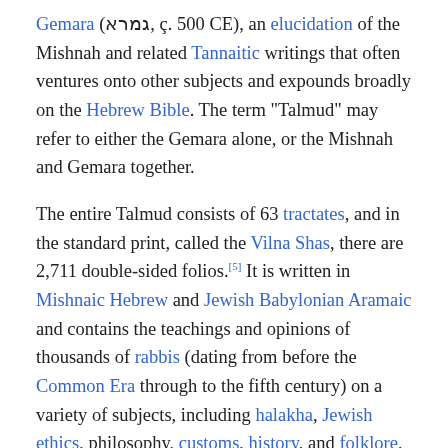Gemara (גמרא, c. 500 CE), an elucidation of the Mishnah and related Tannaitic writings that often ventures onto other subjects and expounds broadly on the Hebrew Bible. The term "Talmud" may refer to either the Gemara alone, or the Mishnah and Gemara together.
The entire Talmud consists of 63 tractates, and in the standard print, called the Vilna Shas, there are 2,711 double-sided folios.[5] It is written in Mishnaic Hebrew and Jewish Babylonian Aramaic and contains the teachings and opinions of thousands of rabbis (dating from before the Common Era through to the fifth century) on a variety of subjects, including halakha, Jewish ethics, philosophy, customs, history, and folklore, and many other topics. The Talmud is the basis for all codes of Jewish law and is widely quoted in rabbinic literature.
Terminology